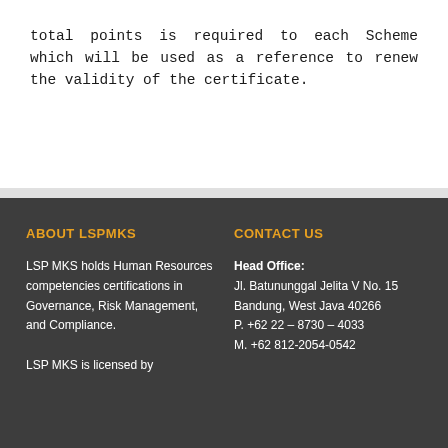total points is required to each Scheme which will be used as a reference to renew the validity of the certificate.
ABOUT LSPMKS
CONTACT US
LSP MKS holds Human Resources competencies certifications in Governance, Risk Management, and Compliance.
Head Office:
Jl. Batununggal Jelita V No. 15
Bandung, West Java 40266
P. +62 22 – 8730 – 4033
M. +62 812-2054-0542
LSP MKS is licensed by